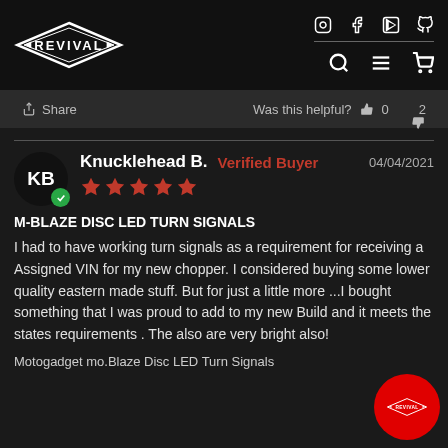[Figure (logo): Revival brand logo in diamond/polygon shape with text REVIVAL]
[Figure (infographic): Social media icons: Instagram, Facebook, YouTube, Pinterest in top nav row; Search, Menu, Cart icons in second nav row]
Share   Was this helpful?   0   2
Knucklehead B.   Verified Buyer   04/04/2021
[Figure (infographic): Five red star rating]
M-BLAZE DISC LED TURN SIGNALS
I had to have working turn signals as a requirement for receiving a Assigned VIN for my new chopper. I considered buying some lower quality eastern made stuff. But for just a little more ...I bought something that I was proud to add to my new Build and it meets the states requirements . The also are very bright also!
Motogadget mo.Blaze Disc LED Turn Signals